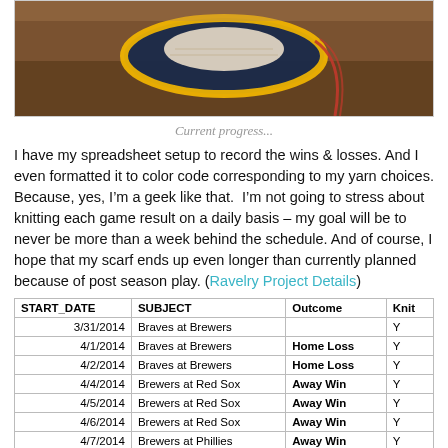[Figure (photo): Close-up photo of a knitted/crocheted baseball-themed item in navy, gold, and white yarn on a brown background]
Current progress...
I have my spreadsheet setup to record the wins & losses. And I even formatted it to color code corresponding to my yarn choices. Because, yes, I'm a geek like that.  I'm not going to stress about knitting each game result on a daily basis – my goal will be to never be more than a week behind the schedule. And of course, I hope that my scarf ends up even longer than currently planned because of post season play. (Ravelry Project Details)
| START_DATE | SUBJECT | Outcome | Knit |
| --- | --- | --- | --- |
| 3/31/2014 | Braves at Brewers | Home Win | Y |
| 4/1/2014 | Braves at Brewers | Home Loss | Y |
| 4/2/2014 | Braves at Brewers | Home Loss | Y |
| 4/4/2014 | Brewers at Red Sox | Away Win | Y |
| 4/5/2014 | Brewers at Red Sox | Away Win | Y |
| 4/6/2014 | Brewers at Red Sox | Away Win | Y |
| 4/7/2014 | Brewers at Phillies | Away Win | Y |